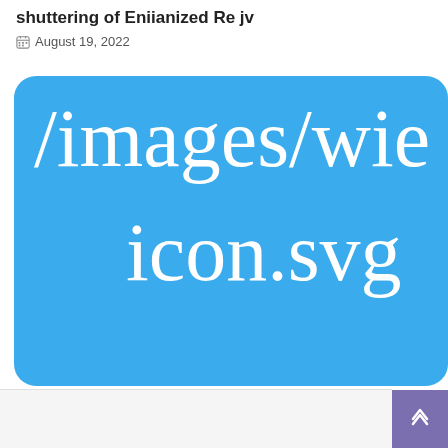shuttering of Eniianized Re jv
August 19, 2022
[Figure (screenshot): A large blue rounded rectangle containing white serif text that reads '/images/wic' on the first line and 'icon.svg' on the second line, partially cropped on the right side. This appears to be a broken image placeholder showing an image file path.]